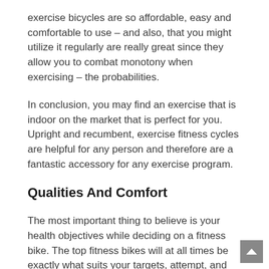exercise bicycles are so affordable, easy and comfortable to use – and also, that you might utilize it regularly are really great since they allow you to combat monotony when exercising – the probabilities.
In conclusion, you may find an exercise that is indoor on the market that is perfect for you. Upright and recumbent, exercise fitness cycles are helpful for any person and therefore are a fantastic accessory for any exercise program.
Qualities And Comfort
The most important thing to believe is your health objectives while deciding on a fitness bike. The top fitness bikes will at all times be exactly what suits your targets, attempt, and wallet the best. With that during mind, there are many components that are elementary